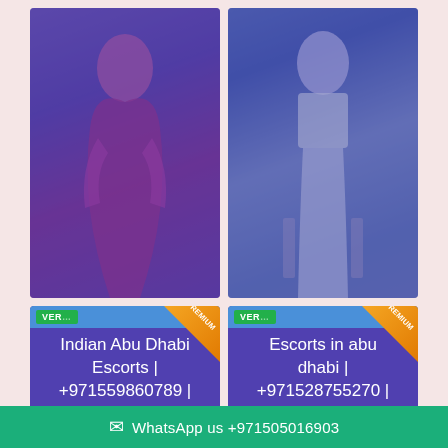[Figure (photo): Photo of a woman in a purple/magenta saree, posed indoors against a light wall. Blue tint overlay applied.]
[Figure (photo): Photo of a woman in a white crop top and white pants, posed indoors in front of a mirror. Blue tint overlay applied.]
VERIFIED PREMIUM
Indian Abu Dhabi Escorts | +971559860789 | UAE Inc… Escorts
VERIFIED PREMIUM
Escorts in abu dhabi | +971528755270 | Escorts Service
WhatsApp us +971505016903